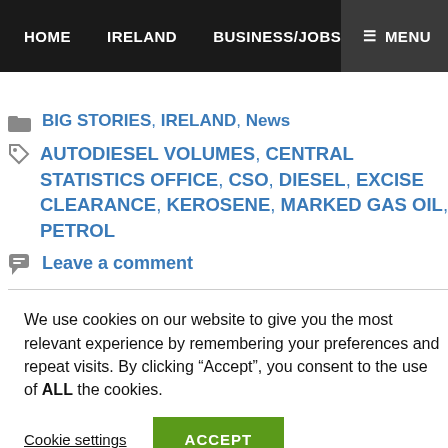HOME   IRELAND   BUSINESS/JOBS   ≡ MENU
BIG STORIES, IRELAND, News
AUTODIESEL VOLUMES, CENTRAL STATISTICS OFFICE, CSO, DIESEL, EXCISE CLEARANCE, KEROSENE, MARKED GAS OIL, PETROL
Leave a comment
We use cookies on our website to give you the most relevant experience by remembering your preferences and repeat visits. By clicking "Accept", you consent to the use of ALL the cookies.
Cookie settings   ACCEPT